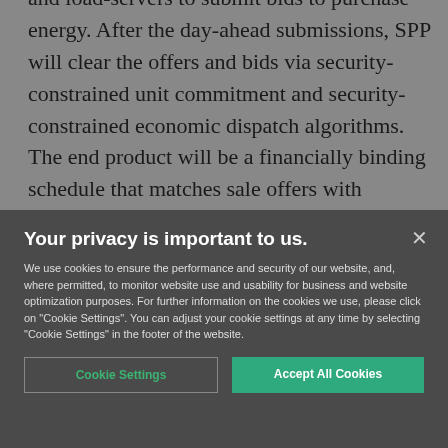and load-servers to submit bids to purchase energy. After the day-ahead submissions, SPP will clear the offers and bids via security-constrained unit commitment and security-constrained economic dispatch algorithms. The end product will be a financially binding schedule that matches sale offers with demand bids and satisfies operating reserve requirements. For day-of energy sales, settlement
Your privacy is important to us.
We use cookies to ensure the performance and security of our website, and, where permitted, to monitor website use and usability for business and website optimization purposes. For further information on the cookies we use, please click on "Cookie Settings". You can adjust your cookie settings at any time by selecting "Cookie Settings" in the footer of the website.
Cookie Settings
Accept All Cookies